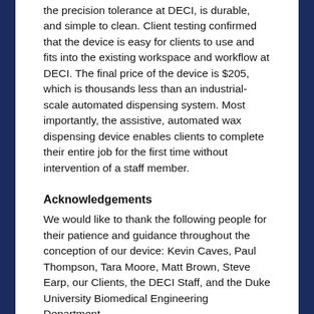the precision tolerance at DECI, is durable, and simple to clean. Client testing confirmed that the device is easy for clients to use and fits into the existing workspace and workflow at DECI. The final price of the device is $205, which is thousands less than an industrial-scale automated dispensing system. Most importantly, the assistive, automated wax dispensing device enables clients to complete their entire job for the first time without intervention of a staff member.
Acknowledgements
We would like to thank the following people for their patience and guidance throughout the conception of our device: Kevin Caves, Paul Thompson, Tara Moore, Matt Brown, Steve Earp, our Clients, the DECI Staff, and the Duke University Biomedical Engineering Department.
References
1. “About Us.” DECI. Durham Exchange Club Industries. Web. 8th March 2017.